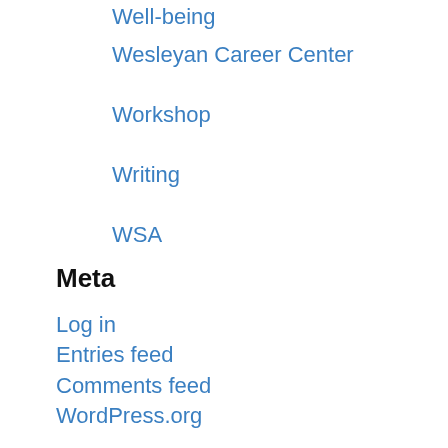Well-being
Wesleyan Career Center
Workshop
Writing
WSA
Meta
Log in
Entries feed
Comments feed
WordPress.org